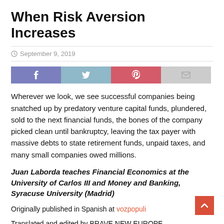When Risk Aversion Increases
September 9, 2019
[Figure (infographic): Social sharing bar with Facebook (purple), Twitter (light blue), Pinterest (red/pink), and Email (gray) buttons]
Wherever we look, we see successful companies being snatched up by predatory venture capital funds, plundered, sold to the next financial funds, the bones of the company picked clean until bankruptcy, leaving the tax payer with massive debts to state retirement funds, unpaid taxes, and many small companies owed millions.
Juan Laborda teaches Financial Economics at the University of Carlos III and Money and Banking, Syracuse University (Madrid)
Originally published in Spanish at vozpopuli
Translated and edited by BRAVE NEW EUROPE